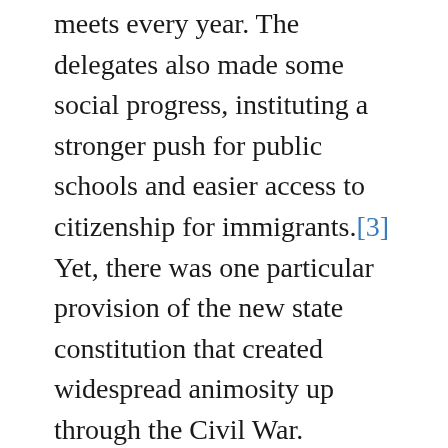exception that the General Assembly now meets every year. The delegates also made some social progress, instituting a stronger push for public schools and easier access to citizenship for immigrants.[3] Yet, there was one particular provision of the new state constitution that created widespread animosity up through the Civil War.
Indiana and Race: The Antebellum Years
When the state constitution was ratified by the public in February 1851, it institutionalized its own version of racism. Article 13 stated that, “No negro or mulatto shall come into or settle in the State, after the adoption of this Constitution.”[4] Even though Indiana was a